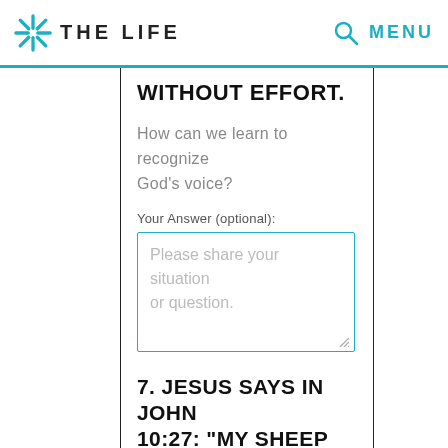THE LIFE  MENU
WITHOUT EFFORT.
How can we learn to recognize God's voice?
Your Answer (optional):
Please share your situation or question.
7. JESUS SAYS IN JOHN 10:27: "MY SHEEP LISTEN TO MY VOICE; I KNOW THEM.